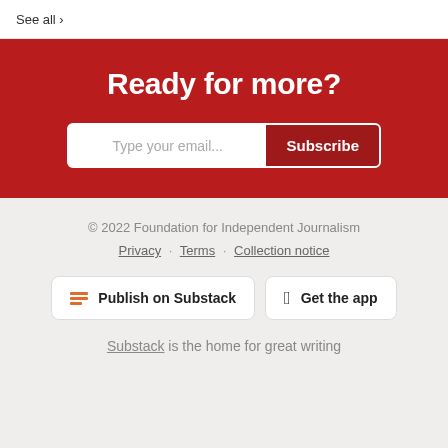See all ›
Ready for more?
Type your email... Subscribe
© 2022 Foundation for Independent Journalism
Privacy · Terms · Collection notice
Publish on Substack
Get the app
Substack is the home for great writing